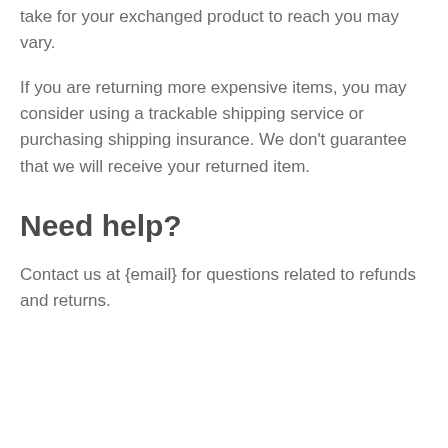take for your exchanged product to reach you may vary.
If you are returning more expensive items, you may consider using a trackable shipping service or purchasing shipping insurance. We don't guarantee that we will receive your returned item.
Need help?
Contact us at {email} for questions related to refunds and returns.